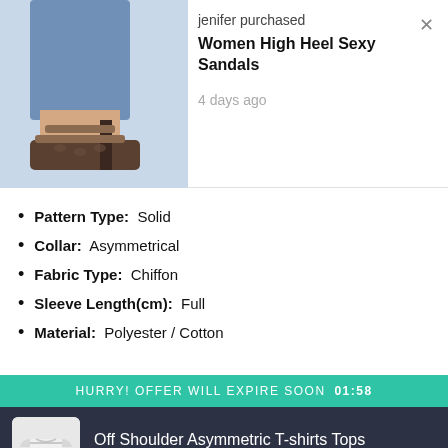[Figure (photo): Photo of woman's legs wearing high heel sandals]
jenifer purchased
Women High Heel Sexy Sandals
4 days ago
Pattern Type: Solid
Collar: Asymmetrical
Fabric Type: Chiffon
Sleeve Length(cm): Full
Material: Polyester / Cotton
HURRY! OFFER WILL EXPIRE SOON  01:58
[Figure (photo): Thumbnail of Off Shoulder Asymmetric T-shirts Tops in white]
Off Shoulder Asymmetric T-shirts Tops
$34.16
L
White
Buy Now